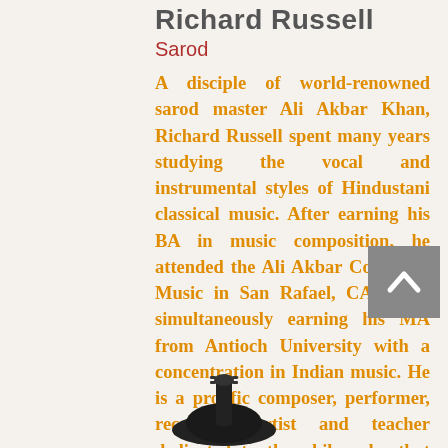Richard Russell
Sarod
A disciple of world-renowned sarod master Ali Akbar Khan, Richard Russell spent many years studying the vocal and instrumental styles of Hindustani classical music. After earning his BA in music composition, he attended the Ali Akbar College of Music in San Rafael, CA, while simultaneously earning his MA from Antioch University with a concentration in Indian music. He is a prolific composer, performer, recording artist and teacher dedicated to the philosophy that sacred music has a unique potential to open the heart, stir the soul and raise the level of peace
[Figure (photo): Silhouette of a sarod (Indian musical instrument) at the bottom of the page]